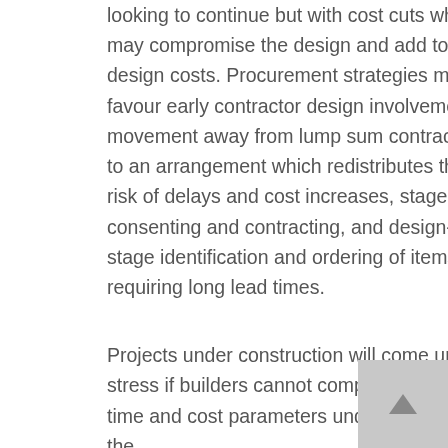looking to continue but with cost cuts which may compromise the design and add to design costs. Procurement strategies may favour early contractor design involvement, movement away from lump sum contracts to an arrangement which redistributes the risk of delays and cost increases, staged consenting and contracting, and design-stage identification and ordering of items requiring long lead times.
Projects under construction will come under stress if builders cannot complete within the time and cost parameters understood when the